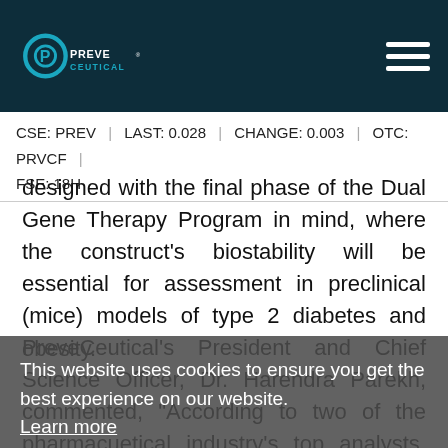PreveCeutical logo and navigation header
CSE: PREV | LAST: 0.028 | CHANGE: 0.003 | OTC: PRVCF | FSE: 18H
designed with the final phase of the Dual Gene Therapy Program in mind, where the construct's biostability will be essential for assessment in preclinical (mice) models of type 2 diabetes and obesity.
PreveCeutical's President and Chief Science Officer, Dr. Harendra Parekh, commented, "According to two of the pharmacuetical industry's top analysts, Paul Verdin and Lisa Urquhart of Evalute Ltd, cell and gene therapy is at one of its most exciting phases of growth and has gained momentum with recent deal making, product sales and interest in the BioPharma sector. With
This website uses cookies to ensure you get the best experience on our website. Learn more | Got it! | Allow cookies